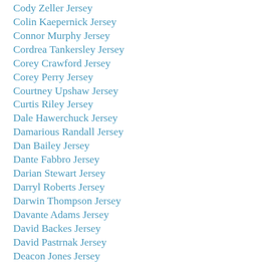Cody Zeller Jersey
Colin Kaepernick Jersey
Connor Murphy Jersey
Cordrea Tankersley Jersey
Corey Crawford Jersey
Corey Perry Jersey
Courtney Upshaw Jersey
Curtis Riley Jersey
Dale Hawerchuck Jersey
Damarious Randall Jersey
Dan Bailey Jersey
Dante Fabbro Jersey
Darian Stewart Jersey
Darryl Roberts Jersey
Darwin Thompson Jersey
Davante Adams Jersey
David Backes Jersey
David Pastrnak Jersey
Deacon Jones Jersey